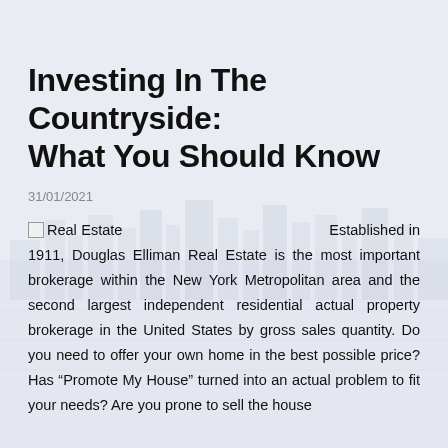Investing In The Countryside: What You Should Know
31/01/2021
Real Estate  Established in 1911, Douglas Elliman Real Estate is the most important brokerage within the New York Metropolitan area and the second largest independent residential actual property brokerage in the United States by gross sales quantity. Do you need to offer your own home in the best possible price? Has “Promote My House” turned into an actual problem to fit your needs? Are you prone to sell the house